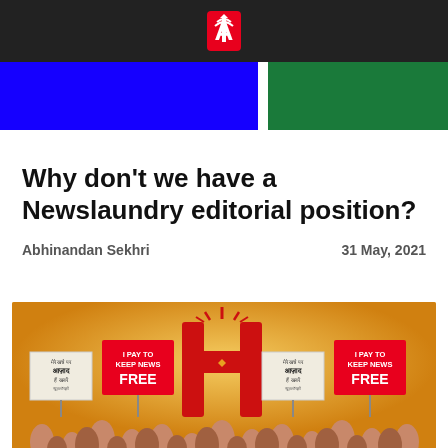Newslaundry logo
[Figure (illustration): Blue and green color strip banner]
Why don't we have a Newslaundry editorial position?
Abhinandan Sekhri    31 May, 2021
[Figure (illustration): Illustration of people holding signs that read 'I PAY TO KEEP NEWS FREE' and Hindi text signs, with a large red Newslaundry H logo in the center on a golden/yellow background]